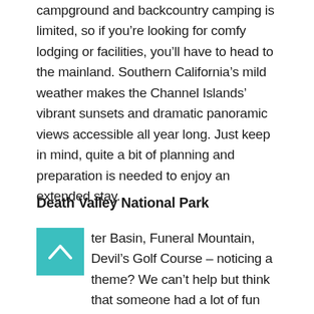campground and backcountry camping is limited, so if you're looking for comfy lodging or facilities, you'll have to head to the mainland. Southern California's mild weather makes the Channel Islands' vibrant sunsets and dramatic panoramic views accessible all year long. Just keep in mind, quite a bit of planning and preparation is needed to enjoy an extended stay.
Death Valley National Park
[Figure (other): Teal/cyan square icon with a white upward-pointing chevron arrow]
ter Basin, Funeral Mountain, Devil's Golf Course – noticing a theme? We can't help but think that someone had a lot of fun giving Death Valley its various attractions names. Still...